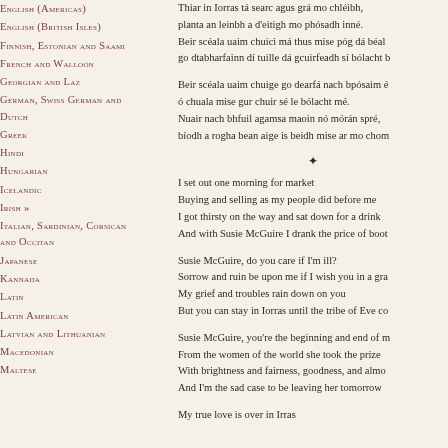English (Americas)
English (British Isles)
Finnish, Estonian and Saami
French and Walloon
Georgian and Laz
German, Swiss German and Dutch
Greek
Hindi
Hungarian
Icelandic
Irish >>
Italian, Sardinian, Corsican and Occitan
Japanese
Kannada
Latin
Latin American
Latvian and Lithuanian
Macedonian
Maltese
Thiar in Iorras tá searc agus grá mo chléibh,
planta an leinbh a d'eitigh mo phósadh inné.
Beir scéala uaim chuici má thus mise póg dá béal
go dtabharfainn dí tuille dá gcuirfeadh sí bólacht b
Beir scéala uaim chuige go dearfá nach bpósaim é
ó chuala mise gur chuir sé le bólacht mé.
Nuair nach bhfuil agamsa maoin nó mórán spré,
bíodh a rogha bean aige is beidh mise ar mo chom
I set out one morning for market
Buying and selling as my people did before me
I got thirsty on the way and sat down for a drink
And with Susie McGuire I drank the price of boot
Susie McGuire, do you care if I'm ill?
Sorrow and ruin be upon me if I wish you in a gra
My grief and troubles rain down on you
But you can stay in Iorras until the tribe of Eve co
Susie McGuire, you're the beginning and end of m
From the women of the world she took the prize
With brightness and fairness, goodness, and almo
And I'm the sad case to be leaving her tomorrow
My true love is over in Irras